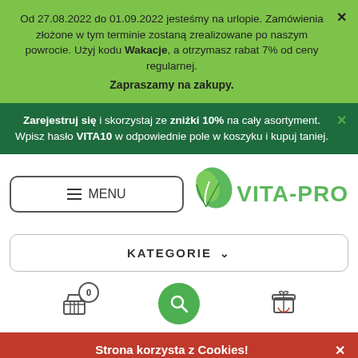Od 27.08.2022 do 01.09.2022 jesteśmy na urlopie. Zamówienia złożone w tym terminie zostaną zrealizowane po naszym powrocie. Użyj kodu Wakacje, a otrzymasz rabat 7% od ceny regularnej. Zapraszamy na zakupy.
Zarejestruj się i skorzystaj ze zniżki 10% na cały asortyment. Wpisz hasło VITA10 w odpowiednie pole w koszyku i kupuj taniej.
[Figure (logo): VITA-PRO logo with green leaf icon and bold green text]
KATEGORIE
Strona korzysta z Cookies!